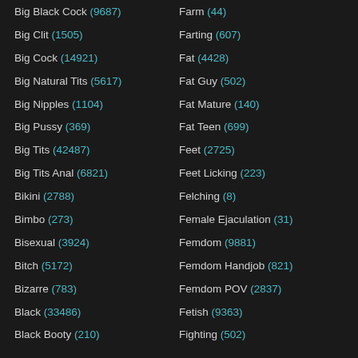Big Black Cock (9687)
Big Clit (1505)
Big Cock (14921)
Big Natural Tits (5617)
Big Nipples (1104)
Big Pussy (369)
Big Tits (42487)
Big Tits Anal (6821)
Bikini (2788)
Bimbo (273)
Bisexual (3924)
Bitch (5172)
Bizarre (783)
Black (33486)
Black Booty (210)
Farm (44)
Farting (607)
Fat (4428)
Fat Guy (502)
Fat Mature (140)
Fat Teen (699)
Feet (2725)
Feet Licking (223)
Felching (8)
Female Ejaculation (31)
Femdom (9881)
Femdom Handjob (821)
Femdom POV (2837)
Fetish (9363)
Fighting (502)